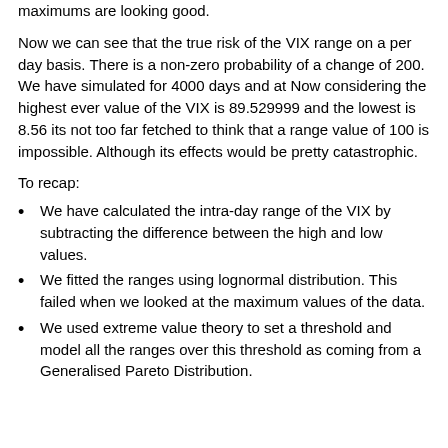maximums are looking good.
Now we can see that the true risk of the VIX range on a per day basis. There is a non-zero probability of a change of 200. We have simulated for 4000 days and at Now considering the highest ever value of the VIX is 89.529999 and the lowest is 8.56 its not too far fetched to think that a range value of 100 is impossible. Although its effects would be pretty catastrophic.
To recap:
We have calculated the intra-day range of the VIX by subtracting the difference between the high and low values.
We fitted the ranges using lognormal distribution. This failed when we looked at the maximum values of the data.
We used extreme value theory to set a threshold and model all the ranges over this threshold as coming from a Generalised Pareto Distribution.